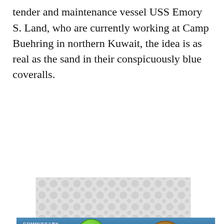tender and maintenance vessel USS Emory S. Land, who are currently working at Camp Buehring in northern Kuwait, the idea is as real as the sand in their conspicuously blue coveralls.
[Figure (screenshot): Advertisement banner: Commissary Click2Go with logo and 'order groceries | PICKUP' text on dark blue background]
Articles left: 4
Subscribe to get unlimited access  Subscribe
Already have an account?  Login here